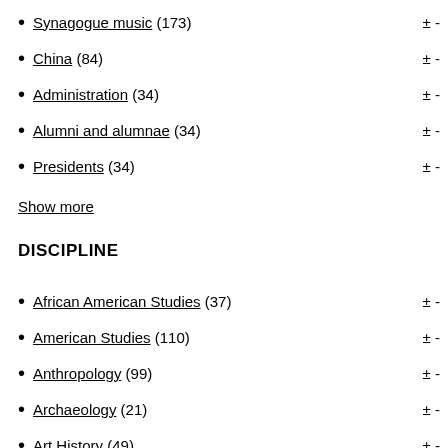Synagogue music (173)
China (84)
Administration (34)
Alumni and alumnae (34)
Presidents (34)
Show more
DISCIPLINE
African American Studies (37)
American Studies (110)
Anthropology (99)
Archaeology (21)
Art History (49)
Art Studio (2)
Art and Architectural History (1)
Astronomy (52)
Biology (68)